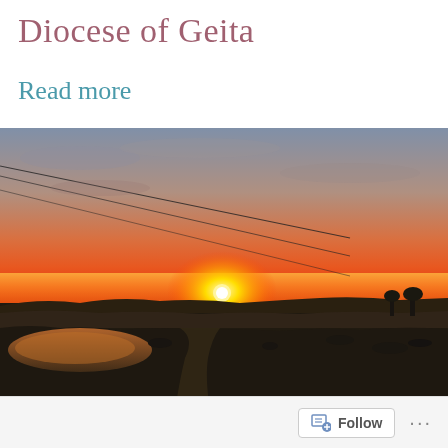Diocese of Geita
Read more
[Figure (photo): Sunset landscape photograph showing a wide flat terrain with a small pond or water body on the left, dark silhouetted land, and power lines crossing the sky. The sky has warm orange and red tones from the setting sun visible on the horizon.]
Follow ...